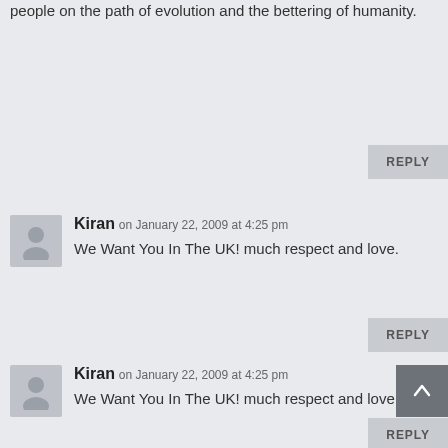people on the path of evolution and the bettering of humanity.
Kiran on January 22, 2009 at 4:25 pm
We Want You In The UK! much respect and love.
Kiran on January 22, 2009 at 4:25 pm
We Want You In The UK! much respect and love.